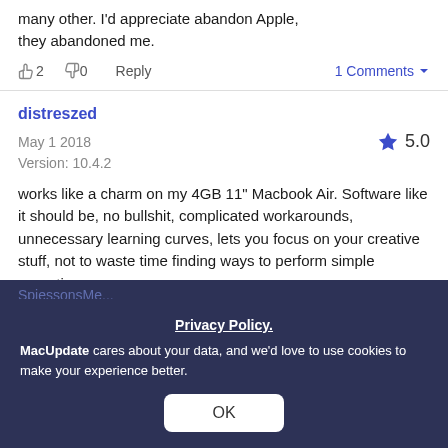many other. I'd appreciate abandon Apple, they abandoned me.
👍 2  👎 0  Reply    1 Comments ▼
distreszed
May 1 2018   ★ 5.0
Version: 10.4.2
works like a charm on my 4GB 11" Macbook Air. Software like it should be, no bullshit, complicated workarounds, unnecessary learning curves, lets you focus on your creative stuff, not to waste time finding ways to perform simple operations.
👍 1  👎 0  Reply
Privacy Policy.
MacUpdate cares about your data, and we'd love to use cookies to make your experience better.
OK